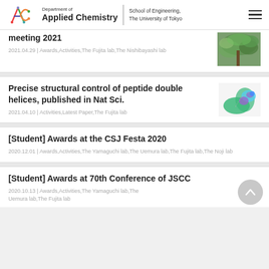Department of Applied Chemistry | School of Engineering, The University of Tokyo
meeting 2021
2021.04.29 | Awards,Activities,The Fujita lab,The Nishibayashi lab
[Figure (photo): Green leaves/tree photo thumbnail]
Precise structural control of peptide double helices, published in Nat Sci.
2021.04.10 | Activities,Latest Paper,The Fujita lab
[Figure (illustration): 3D molecular structure illustration of peptide double helix]
[Student] Awards at the CSJ Festa 2020
2020.12.01 | Awards,Activities,The Yamaguchi lab,The Uemura lab,The Fujita lab,The Noji lab
[Student] Awards at 70th Conference of JSCC
2020.10.13 | Awards,Activities,The Yamaguchi lab,The Uemura lab,The Fujita lab